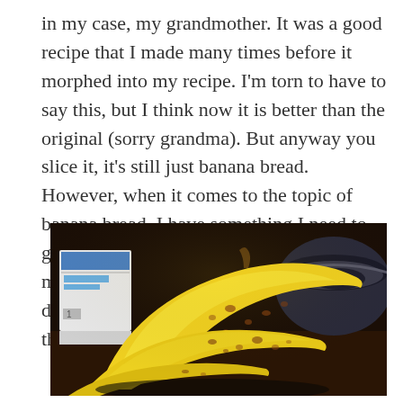in my case, my grandmother. It was a good recipe that I made many times before it morphed into my recipe. I'm torn to have to say this, but I think now it is better than the original (sorry grandma). But anyway you slice it, it's still just banana bread. However, when it comes to the topic of banana bread, I have something I need to get off my chest. It's just my opinion, and many are going to disagree with me, but I don't use overripe bananas, and I don't think you should either.
[Figure (photo): A close-up photograph of yellow bananas with small brown spots on a dark background, with a mixing bowl visible on the right and a box (likely butter or cream cheese) visible on the left.]